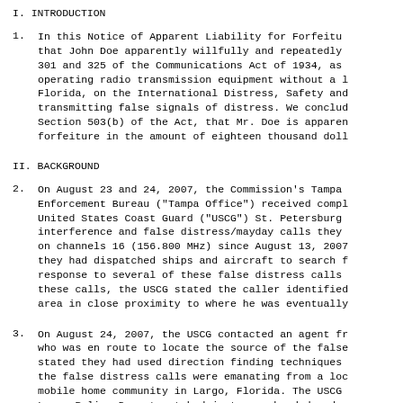I. INTRODUCTION
1. In this Notice of Apparent Liability for Forfeiture that John Doe apparently willfully and repeatedly 301 and 325 of the Communications Act of 1934, as operating radio transmission equipment without a l Florida, on the International Distress, Safety an transmitting false signals of distress. We conclu Section 503(b) of the Act, that Mr. Doe is appare forfeiture in the amount of eighteen thousand dol
II. BACKGROUND
2. On August 23 and 24, 2007, the Commission's Tampa Enforcement Bureau ("Tampa Office") received compl United States Coast Guard ("USCG") St. Petersburg interference and false distress/mayday calls they on channels 16 (156.800 MHz) since August 13, 2007 they had dispatched ships and aircraft to search f response to several of these false distress calls these calls, the USCG stated the caller identified area in close proximity to where he was eventually
3. On August 24, 2007, the USCG contacted an agent fr who was en route to locate the source of the false stated they had used direction finding techniques the false distress calls were emanating from a loc mobile home community in Largo, Florida. The USCG Largo Police Department had just apprehended and w custody a student, who lived in this mobile home c